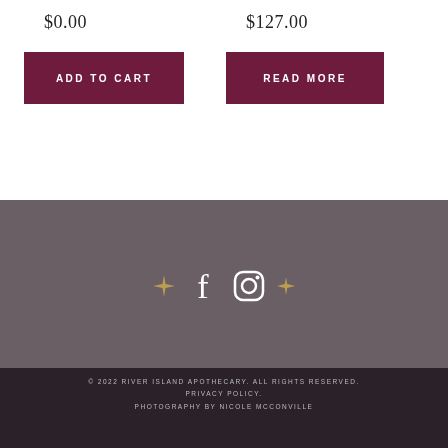$0.00
$127.00
ADD TO CART
READ MORE
[Figure (other): Footer social media section with dark mauve background, decorative gold sparkle icons and white Facebook and Instagram icons centered horizontally]
© 2022 RIVER ISLAND APOTHECARY. ALL RIGHTS RESERVED. PRIVACY POLICY. PHOTOGRAPHY BY NICOLE MCCONVILLE